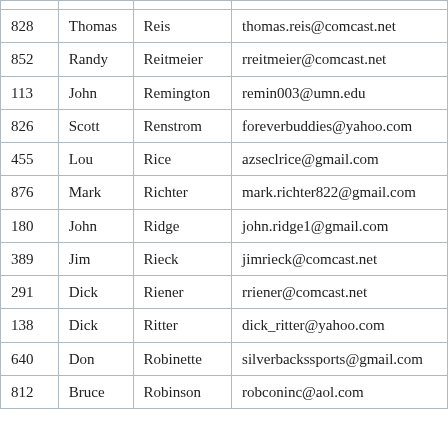|  |  |  |  |
| --- | --- | --- | --- |
| 828 | Thomas | Reis | thomas.reis@comcast.net |
| 852 | Randy | Reitmeier | rreitmeier@comcast.net |
| 113 | John | Remington | remin003@umn.edu |
| 826 | Scott | Renstrom | foreverbuddies@yahoo.com |
| 455 | Lou | Rice | azseclrice@gmail.com |
| 876 | Mark | Richter | mark.richter822@gmail.com |
| 180 | John | Ridge | john.ridge1@gmail.com |
| 389 | Jim | Rieck | jimrieck@comcast.net |
| 291 | Dick | Riener | rriener@comcast.net |
| 138 | Dick | Ritter | dick_ritter@yahoo.com |
| 640 | Don | Robinette | silverbackssports@gmail.com |
| 812 | Bruce | Robinson | robconinc@aol.com |